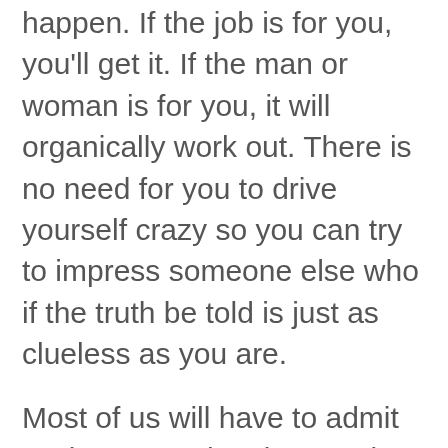happen. If the job is for you, you'll get it. If the man or woman is for you, it will organically work out. There is no need for you to drive yourself crazy so you can try to impress someone else who if the truth be told is just as clueless as you are.
Most of us will have to admit we love to make plans and aggressively put things in to action. It makes us feel better about ourselves to tell people our lives are all planned out. But the problem with living this way is, you will begin to create a life where you put yourself under a tremendous amount of pressure and stress. You'll